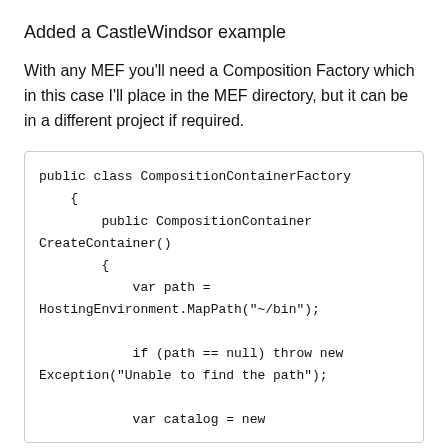Added a CastleWindsor example
With any MEF you'll need a Composition Factory which in this case I'll place in the MEF directory, but it can be in a different project if required.
public class CompositionContainerFactory
    {
        public CompositionContainer CreateContainer()
        {
            var path =
HostingEnvironment.MapPath("~/bin");

            if (path == null) throw new
Exception("Unable to find the path");

            var catalog = new